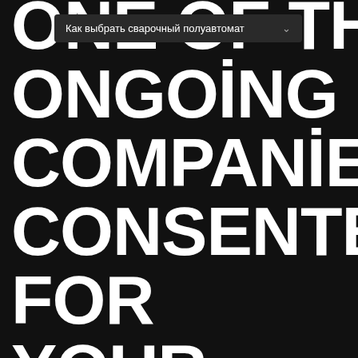[Figure (screenshot): Dark background webpage with a Russian-language dropdown menu overlay reading 'Как выбрать сварочный полуавтомат' and large white bold uppercase text reading 'ONE OF THE ONGOING COMPANIES CONSENTED FOR YOUR REQUIREMENTS BEFORE YOU']
Как выбрать сварочный полуавтомат
ONE OF THE ONGOING COMPANIES CONSENTED FOR YOUR REQUIREMENTS BEFORE YOU